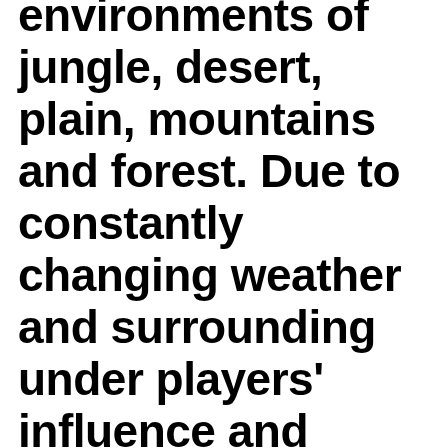put into different environments of jungle, desert, plain, mountains and forest. Due to constantly changing weather and surrounding under players' influence and interaction you need to travel across the land in search of a minute of